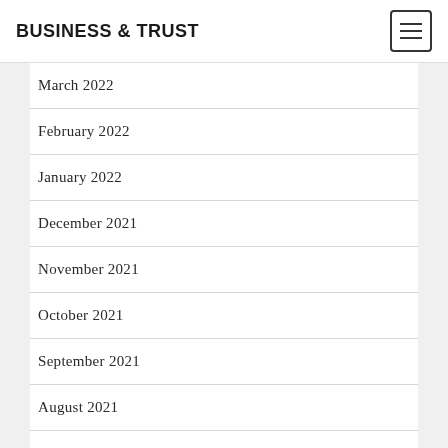BUSINESS & TRUST
March 2022
February 2022
January 2022
December 2021
November 2021
October 2021
September 2021
August 2021
July 2021
June 2021